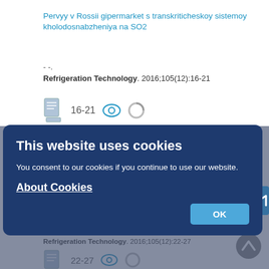Pervyy v Rossii gipermarket s transkriticheskoy sistemoy kholodosnabzheniya na SO2
- -.
Refrigeration Technology. 2016;105(12):16-21
[Figure (screenshot): Document icon with page number 16-21, eye icon, and spinner icon]
This website uses cookies
You consent to our cookies if you continue to use our website.
About Cookies
OK
V Rossi otkryt zavod po proizvodstvu teploizolyatsii kompanii Armacel
Refrigeration Technology. 2016;105(12):22-27
[Figure (screenshot): Document icon with page number 22-27, eye icon, and spinner icon]
[Figure (screenshot): PDF (RUS) and XML (JATS XML) file icons at the bottom of page]